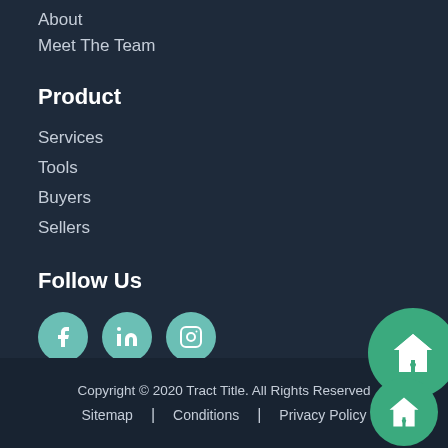About
Meet The Team
Product
Services
Tools
Buyers
Sellers
Follow Us
[Figure (illustration): Social media icons: Facebook, LinkedIn, Instagram — teal circles with white icons]
[Figure (logo): Two green circles with white house/heart icons, overlapping in bottom-right corner]
Copyright © 2020 Tract Title. All Rights Reserved
Sitemap | Conditions | Privacy Policy